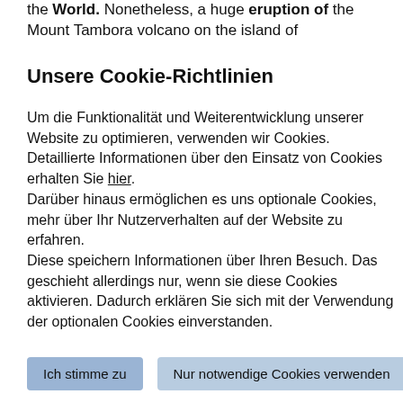the World. Nonetheless, a huge eruption of the Mount Tambora volcano on the island of
Unsere Cookie-Richtlinien
Um die Funktionalität und Weiterentwicklung unserer Website zu optimieren, verwenden wir Cookies. Detaillierte Informationen über den Einsatz von Cookies erhalten Sie hier.
Darüber hinaus ermöglichen es uns optionale Cookies, mehr über Ihr Nutzerverhalten auf der Website zu erfahren.
Diese speichern Informationen über Ihren Besuch. Das geschieht allerdings nur, wenn sie diese Cookies aktivieren. Dadurch erklären Sie sich mit der Verwendung der optionalen Cookies einverstanden.
Ich stimme zu
Nur notwendige Cookies verwenden